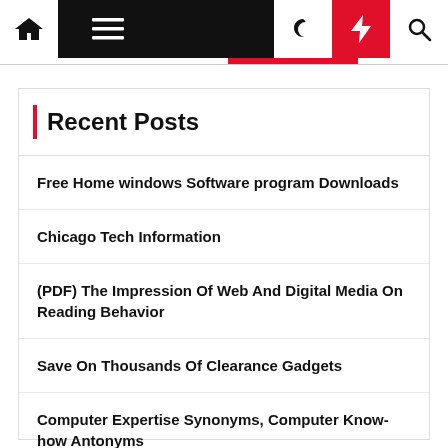Navigation bar with home, menu, moon/dark mode, bolt/trending, and search icons
Recent Posts
Free Home windows Software program Downloads
Chicago Tech Information
(PDF) The Impression Of Web And Digital Media On Reading Behavior
Save On Thousands Of Clearance Gadgets
Computer Expertise Synonyms, Computer Know-how Antonyms